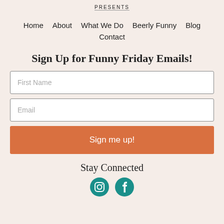Presents
Home   About   What We Do   Beerly Funny   Blog   Contact
Sign Up for Funny Friday Emails!
First Name
Email
Sign me up!
Stay Connected
[Figure (illustration): Two circular teal social media icons: Instagram and Facebook]